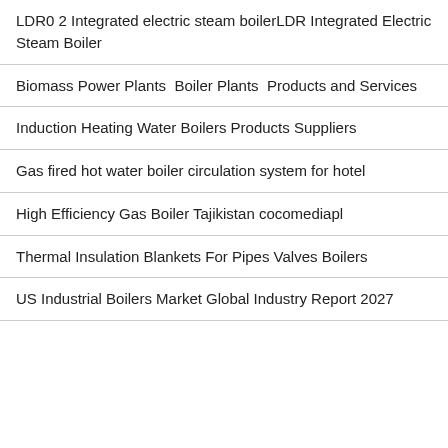LDR0 2 Integrated electric steam boilerLDR Integrated Electric Steam Boiler
Biomass Power Plants  Boiler Plants  Products and Services
Induction Heating Water Boilers Products Suppliers
Gas fired hot water boiler circulation system for hotel
High Efficiency Gas Boiler Tajikistan cocomediapl
Thermal Insulation Blankets For Pipes Valves Boilers
US Industrial Boilers Market Global Industry Report 2027